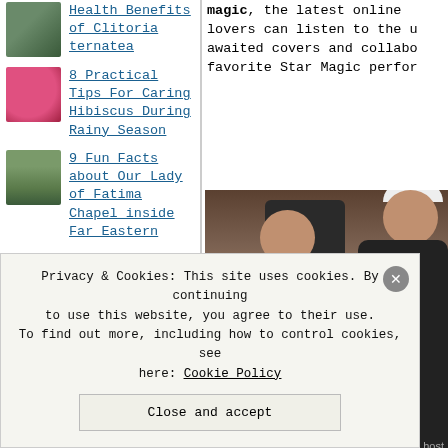Health Benefits of Clitoria ternatea
8 Practical Tips For Caring Hibiscus During Rainy Season
9 Fun Facts about Our Lady of Fatima Chapel inside Far Eastern
magic, the latest online... lovers can listen to the u... awaited covers and collabo... favorite Star Magic perfor...
[Figure (photo): Two people, one seated playing guitar and one standing wearing a white cap, with a large speaker on a stand in the background. Watermark overlay visible.]
Privacy & Cookies: This site uses cookies. By continuing to use this website, you agree to their use. To find out more, including how to control cookies, see here: Cookie Policy
Close and accept